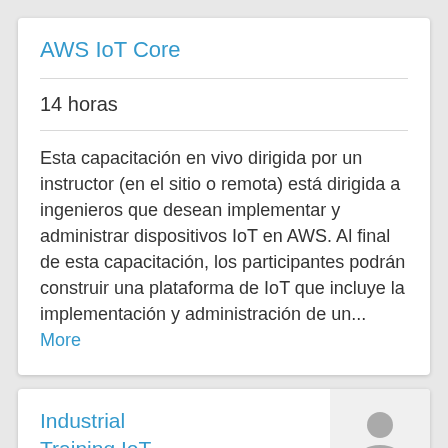AWS IoT Core
14 horas
Esta capacitación en vivo dirigida por un instructor (en el sitio o remota) está dirigida a ingenieros que desean implementar y administrar dispositivos IoT en AWS. Al final de esta capacitación, los participantes podrán construir una plataforma de IoT que incluye la implementación y administración de un... More
Industrial Training IoT (Internet of Things) with Raspberry PI and AWS IoT Core ⌀8 Hours Remo
8 horas